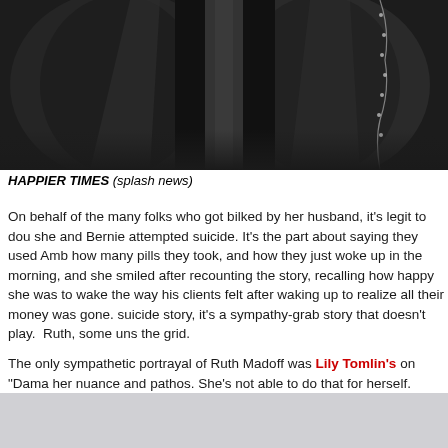[Figure (photo): Close-up photo of two people wearing dark/black formal attire, cropped to show torsos and lower necks only.]
HAPPIER TIMES (splash news)
On behalf of the many folks who got bilked by her husband, it's legit to doubt she and Bernie attempted suicide. It's the part about saying they used Amb how many pills they took, and how they just woke up in the morning, and she smiled after recounting the story, recalling how happy she was to wake the way his clients felt after waking up to realize all their money was gone. suicide story, it's a sympathy-grab story that doesn't play. Ruth, some uns the grid.
The only sympathetic portrayal of Ruth Madoff was Lily Tomlin's on "Dama her nuance and pathos. She's not able to do that for herself.